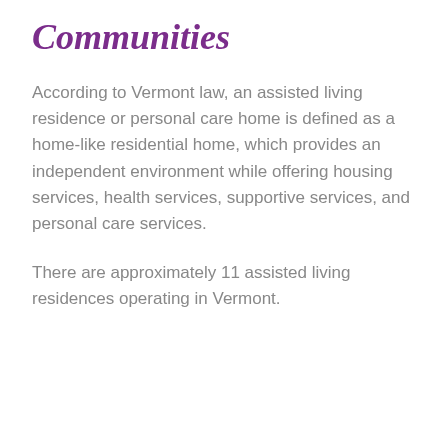Communities
According to Vermont law, an assisted living residence or personal care home is defined as a home-like residential home, which provides an independent environment while offering housing services, health services, supportive services, and personal care services.
There are approximately 11 assisted living residences operating in Vermont.